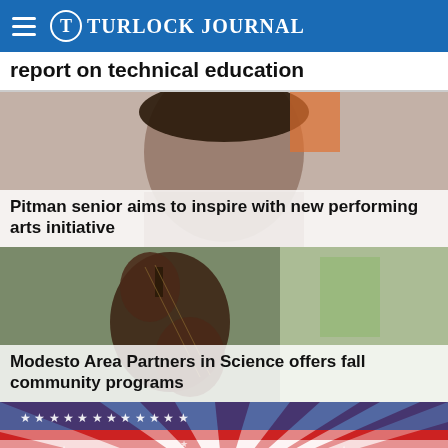Turlock Journal
report on technical education
[Figure (photo): Close-up photo of a young person's face, partial view]
Pitman senior aims to inspire with new performing arts initiative
[Figure (photo): Photo of a person holding a violin/instrument near a window]
Modesto Area Partners in Science offers fall community programs
[Figure (illustration): Patriotic graphic with American flag rays, stars and stripes in red, white, and blue]
Area school district candidate field makes it